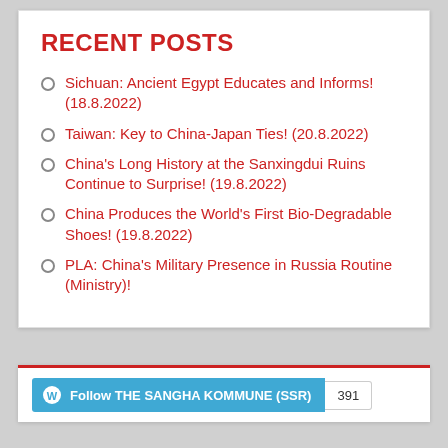RECENT POSTS
Sichuan: Ancient Egypt Educates and Informs! (18.8.2022)
Taiwan: Key to China-Japan Ties! (20.8.2022)
China's Long History at the Sanxingdui Ruins Continue to Surprise! (19.8.2022)
China Produces the World's First Bio-Degradable Shoes! (19.8.2022)
PLA: China's Military Presence in Russia Routine (Ministry)!
Follow THE SANGHA KOMMUNE (SSR) 391